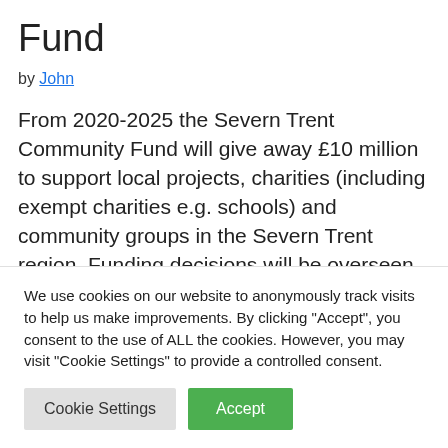Fund
by John
From 2020-2025 the Severn Trent Community Fund will give away £10 million to support local projects, charities (including exempt charities e.g. schools) and community groups in the Severn Trent region. Funding decisions will be overseen by
We use cookies on our website to anonymously track visits to help us make improvements. By clicking "Accept", you consent to the use of ALL the cookies. However, you may visit "Cookie Settings" to provide a controlled consent.